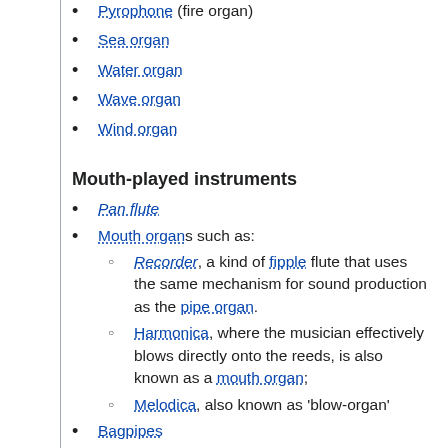Pyrophone (fire organ)
Sea organ
Water organ
Wave organ
Wind organ
Mouth-played instruments
Pan flute
Mouth organs such as:
Recorder, a kind of fipple flute that uses the same mechanism for sound production as the pipe organ.
Harmonica, where the musician effectively blows directly onto the reeds, is also known as a mouth organ;
Melodica, also known as 'blow-organ'
Bagpipes